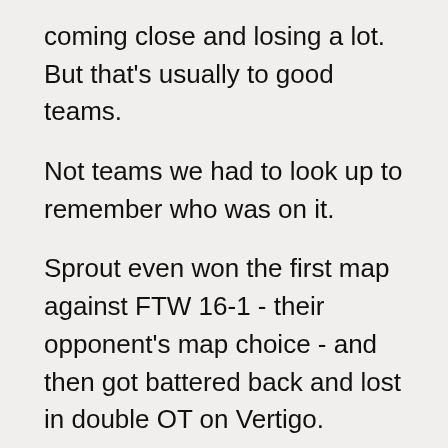coming close and losing a lot. But that's usually to good teams.
Not teams we had to look up to remember who was on it.
Sprout even won the first map against FTW 16-1 - their opponent's map choice - and then got battered back and lost in double OT on Vertigo.
We're not used to expecting Sprout to do anything, and we never will again.
And TYLOO, well. They beat Strife, pushed MIBR close on map two, but totally